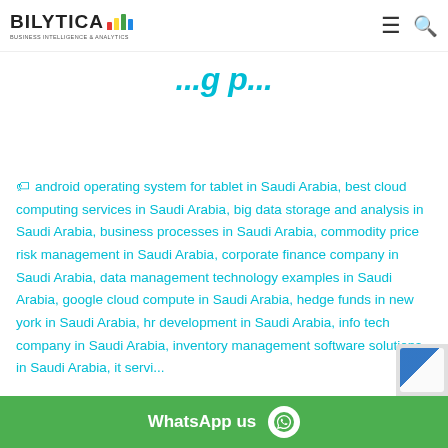BILYTICA BUSINESS INTELLIGENCE & ANALYTICS
...g p...
android operating system for tablet in Saudi Arabia, best cloud computing services in Saudi Arabia, big data storage and analysis in Saudi Arabia, business processes in Saudi Arabia, commodity price risk management in Saudi Arabia, corporate finance company in Saudi Arabia, data management technology examples in Saudi Arabia, google cloud compute in Saudi Arabia, hedge funds in new york in Saudi Arabia, hr development in Saudi Arabia, info tech company in Saudi Arabia, inventory management software solutions in Saudi Arabia, it servi...